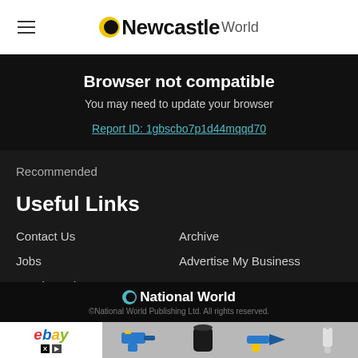Newcastle World
Browser not compatible
You may need to update your browser
Report ID: 1gbscbo7p1d44mqqd70
Recommended
Useful Links
Contact Us
Archive
Jobs
Advertise My Business
Readers Charter
National World
©National World Publishing Ltd. All rights reserved.
[Figure (other): eBay advertisement banner with product images including power tools and a vacuum cleaner]